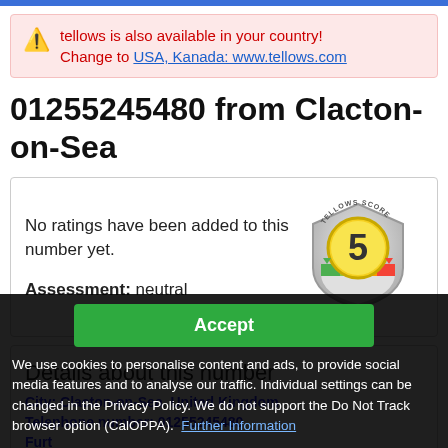tellows is also available in your country! Change to USA, Kanada: www.tellows.com
01255245480 from Clacton-on-Sea
No ratings have been added to this number yet. Assessment: neutral
[Figure (infographic): Tellows Score badge showing score of 5 (neutral) with green/orange/red color gradient shield]
Details about this number
City: Clacton-on-Sea, United Kingdom
Telephone number: 01255245480
Further
We use cookies to personalise content and ads, to provide social media features and to analyse our traffic. Individual settings can be changed in the Privacy Policy. We do not support the Do Not Track browser option (CalOPPA). Further Information